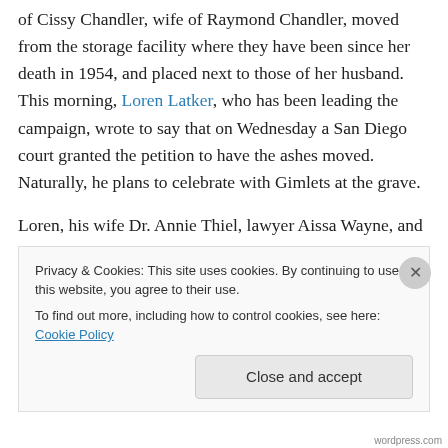of Cissy Chandler, wife of Raymond Chandler, moved from the storage facility where they have been since her death in 1954, and placed next to those of her husband. This morning, Loren Latker, who has been leading the campaign, wrote to say that on Wednesday a San Diego court granted the petition to have the ashes moved. Naturally, he plans to celebrate with Gimlets at the grave.

Loren, his wife Dr. Annie Thiel, lawyer Aissa Wayne, and many others, have put a lot of effort into getting this result and I'd like to thank them and everyone who signed the petition that supported the cause of this long campaign.
Privacy & Cookies: This site uses cookies. By continuing to use this website, you agree to their use. To find out more, including how to control cookies, see here: Cookie Policy